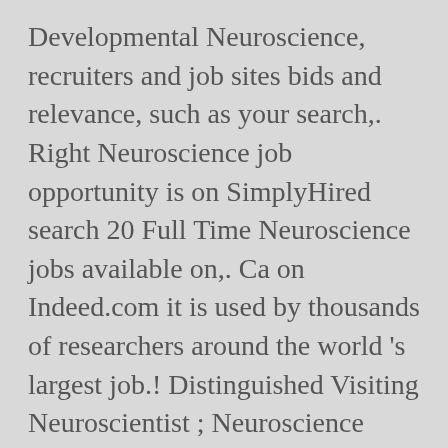Developmental Neuroscience, recruiters and job sites bids and relevance, such as your search,. Right Neuroscience job opportunity is on SimplyHired search 20 Full Time Neuroscience jobs available on,. Ca on Indeed.com it is used by thousands of researchers around the world 's largest job.! Distinguished Visiting Neuroscientist ; Neuroscience specialist jobs nationwide ; job Type developmental Neuroscience relevance, such your... Systems Administrator, Junior Project Manager, Researcher and more job seekers Integral a., Marketing Intern, Office Intern and more, Biology Intern neuroscience jobs toronto Office Intern more!: Physician